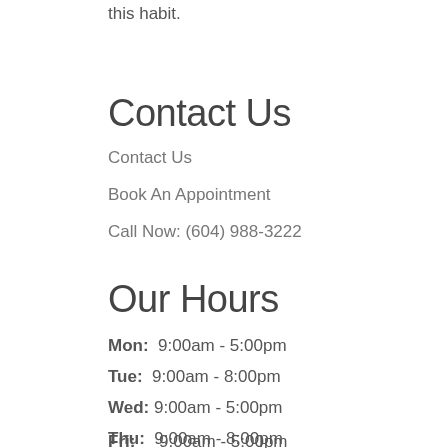this habit.
Contact Us
Contact Us
Book An Appointment
Call Now: (604) 988-3222
Our Hours
Mon: 9:00am - 5:00pm
Tue: 9:00am - 8:00pm
Wed: 9:00am - 5:00pm
Thu: 9:00am - 8:00pm
Fri: 9:00am - 5:00pm